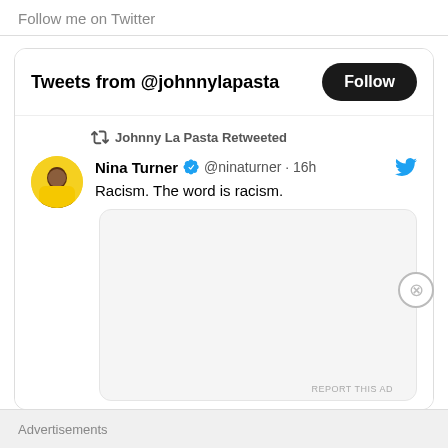Follow me on Twitter
Tweets from @johnnylapasta
Johnny La Pasta Retweeted
Nina Turner @ninaturner · 16h
Racism. The word is racism.
[Figure (screenshot): Empty tweet image preview box with rounded corners]
Advertisements